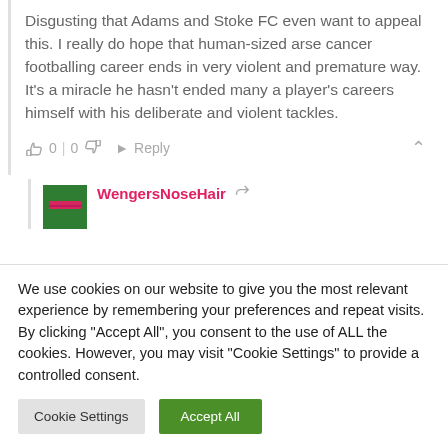Disgusting that Adams and Stoke FC even want to appeal this. I really do hope that human-sized arse cancer footballing career ends in very violent and premature way. It's a miracle he hasn't ended many a player's careers himself with his deliberate and violent tackles.
0 | 0   Reply
WengersNoseHair
We use cookies on our website to give you the most relevant experience by remembering your preferences and repeat visits. By clicking "Accept All", you consent to the use of ALL the cookies. However, you may visit "Cookie Settings" to provide a controlled consent.